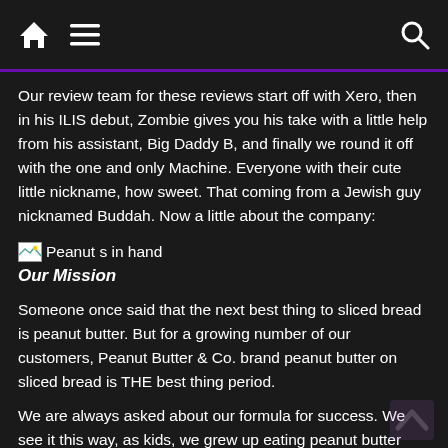Navigation bar with home, menu, and search icons
Our review team for these reviews start off with Xero, then in his ILIS debut, Zombie gives you his take with a little help from his assistant, Big Daddy B, and finally we round it off with the one and only Machine. Everyone with their cute little nickname, how sweet. That coming from a Jewish guy nicknamed Buddah. Now a little about the company:
[Figure (illustration): Broken image placeholder labeled 'Peanut s in hand']
Our Mission
Someone once said that the next best thing to sliced bread is peanut butter. But for a growing number of our customers, Peanut Butter & Co. brand peanut butter on sliced bread is THE best thing period.
We are always asked about our formula for success. We see it this way, as kids, we grew up eating peanut butter